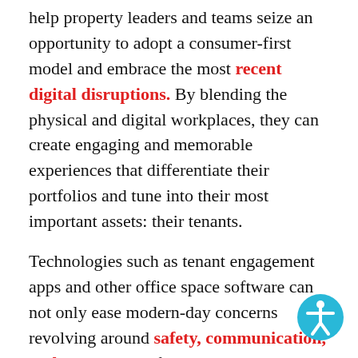help property leaders and teams seize an opportunity to adopt a consumer-first model and embrace the most recent digital disruptions. By blending the physical and digital workplaces, they can create engaging and memorable experiences that differentiate their portfolios and tune into their most important assets: their tenants.
Technologies such as tenant engagement apps and other office space software can not only ease modern-day concerns revolving around safety, communication, and engagement for your existing tenants, but it will also help you strengthen your workplace culture to help attract new tenants by enabling unique digital